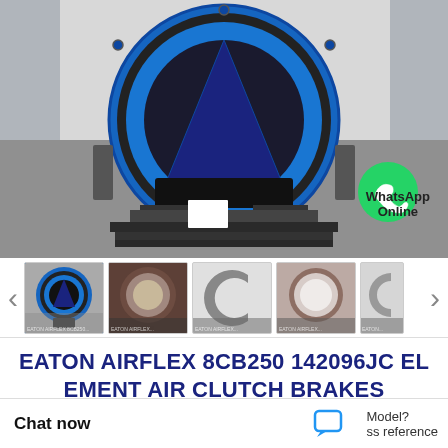[Figure (photo): Main product photo of Eaton Airflex 8CB250 142096JC air clutch brake element. Large circular blue metal ring with black rubber lining, blue triangular/conical internal structure, photographed from front. WhatsApp Online icon overlay in bottom-right.]
[Figure (photo): Thumbnail strip showing 5 product images of the Eaton Airflex air clutch brake from various angles, with left/right navigation arrows.]
EATON AIRFLEX 8CB250 142096JC ELEMENT AIR CLUTCH BRAKES MODELS
Model?
ss reference
Chat now